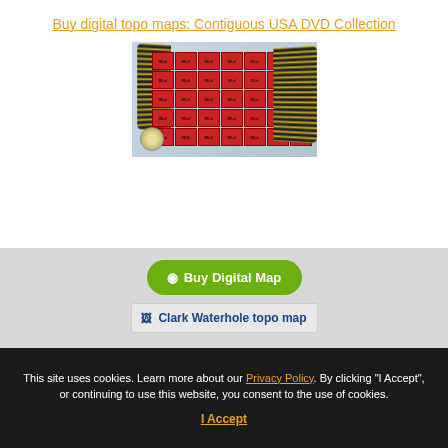Buy digital topo maps: Contiguous USA DVD Collection
[Figure (photo): Image showing a grid of red topographic map sections overlaid on a blue US map background, with DVD discs and yellow-black striped map rolls on the sides.]
Buy Digital Map
Clark Waterhole topo map
This site uses cookies. Learn more about our Privacy Policy. By clicking "I Accept", or continuing to use this website, you consent to the use of cookies.
I Accept